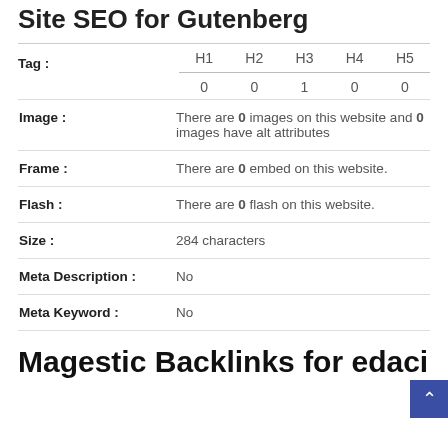Site SEO for Gutenberg
|  | H1 | H2 | H3 | H4 | H5 |
| --- | --- | --- | --- | --- | --- |
| Tag : | 0 | 0 | 1 | 0 | 0 |
Image : There are 0 images on this website and 0 images have alt attributes
Frame : There are 0 embed on this website.
Flash : There are 0 flash on this website.
Size : 284 characters
Meta Description : No
Meta Keyword : No
Magestic Backlinks for edaci...